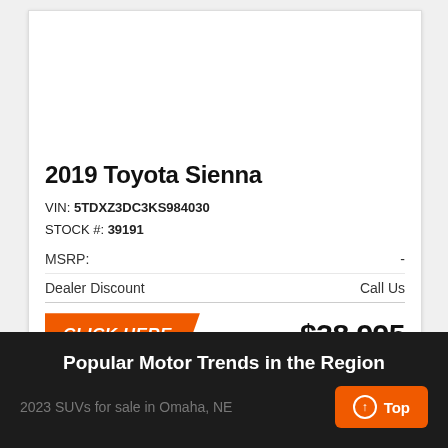[Figure (photo): Exterior photo of white SUVs on a car lot under a cloudy sky]
2019 Toyota Sienna
VIN: 5TDXZ3DC3KS984030
STOCK #: 39191
| MSRP: | - |
| Dealer Discount | Call Us |
|  | $38,995 |
Popular Motor Trends in the Region
2023 SUVs for sale in Omaha, NE